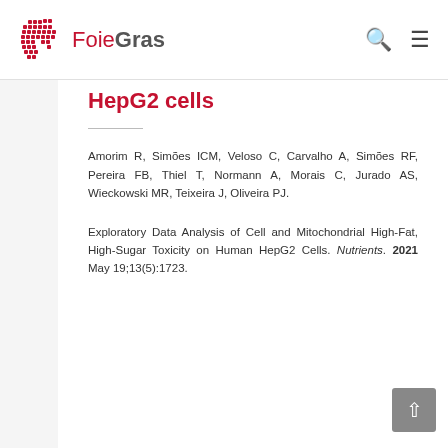[Figure (logo): FoieGras website logo with red pixelated liver icon and text FoieGras]
HepG2 cells
Amorim R, Simões ICM, Veloso C, Carvalho A, Simões RF, Pereira FB, Thiel T, Normann A, Morais C, Jurado AS, Wieckowski MR, Teixeira J, Oliveira PJ.
Exploratory Data Analysis of Cell and Mitochondrial High-Fat, High-Sugar Toxicity on Human HepG2 Cells. Nutrients. 2021 May 19;13(5):1723.